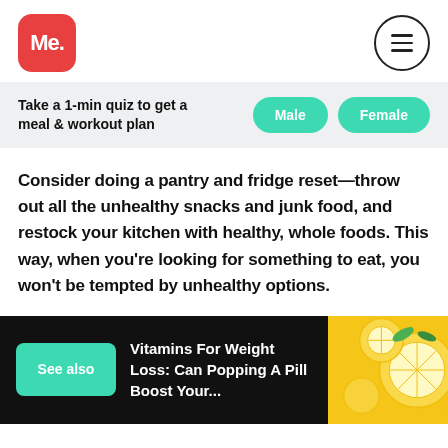Me.
Take a 1-min quiz to get a meal & workout plan
Consider doing a pantry and fridge reset—throw out all the unhealthy snacks and junk food, and restock your kitchen with healthy, whole foods. This way, when you're looking for something to eat, you won't be tempted by unhealthy options.
See also  Vitamins For Weight Loss: Can Popping A Pill Boost Your...